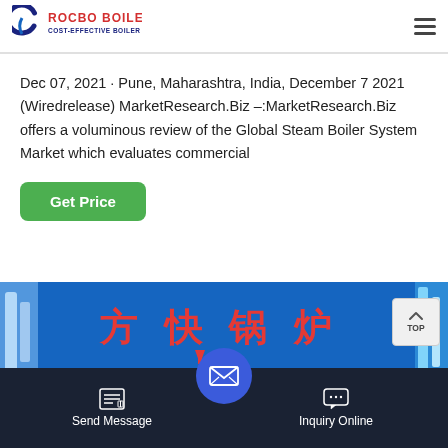[Figure (logo): Rocbo Boiler logo - circular C shape in blue with text ROCBO BOILER and subtitle COST-EFFECTIVE BOILER SUPPLIER in red/blue]
Dec 07, 2021 · Pune, Maharashtra, India, December 7 2021 (Wiredrelease) MarketResearch.Biz –:MarketResearch.Biz offers a voluminous review of the Global Steam Boiler System Market which evaluates commercial
[Figure (photo): Photo of a blue industrial boiler with red Chinese characters 方快锅炉 on the front]
Send Message  Inquiry Online